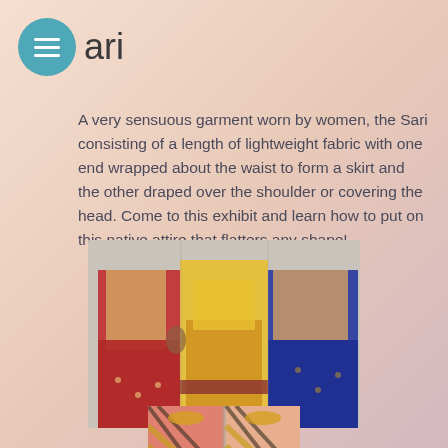Sari
A very sensuous garment worn by women, the Sari consisting of a length of lightweight fabric with one end wrapped about the waist to form a skirt and the other draped over the shoulder or covering the head. Come to this exhibit and learn how to put on this native attire that flatters any shape!
[Figure (photo): Three women wearing traditional saris — red, yellow/gold, and blue — standing together]
[Figure (photo): Two mannequins or women displaying colorful diagonal-striped saris with gold embellishments]